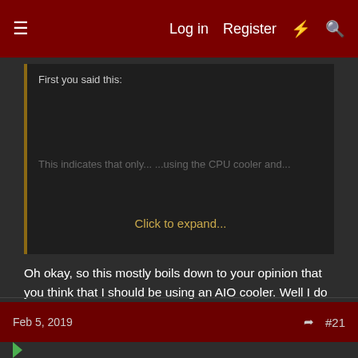Log in   Register   ⚡   🔍
First you said this:
Click to expand...
Oh okay, so this mostly boils down to your opinion that you think that I should be using an AIO cooler. Well I do not share that opinion with you, and you know what? That's fine. I'm entitled to have my own personal opinions and so are you. I'm very satisfied with my CPU cooler personally and it's become an almost sentimental component in my system because not only how long I've used it, but also because of how well it works for me. Different strokes for different folks as they say.
Feb 5, 2019   #21